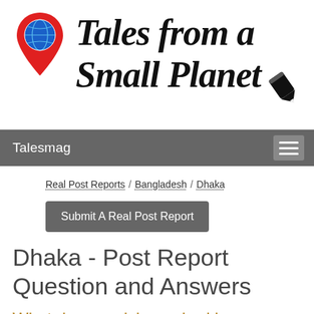[Figure (logo): Tales from a Small Planet logo with globe/location pin icon, cursive handwritten title text, and fountain pen illustration]
Talesmag
Real Post Reports / Bangladesh / Dhaka
Submit A Real Post Report
Dhaka - Post Report Question and Answers
What do you wish you had known about this particular city/country